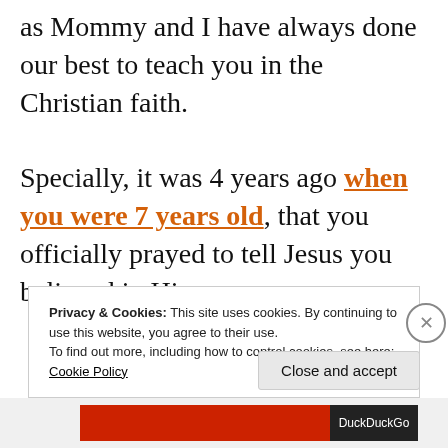as Mommy and I have always done our best to teach you in the Christian faith.
Specially, it was 4 years ago when you were 7 years old, that you officially prayed to tell Jesus you believed in Him.
Privacy & Cookies: This site uses cookies. By continuing to use this website, you agree to their use. To find out more, including how to control cookies, see here: Cookie Policy
Close and accept